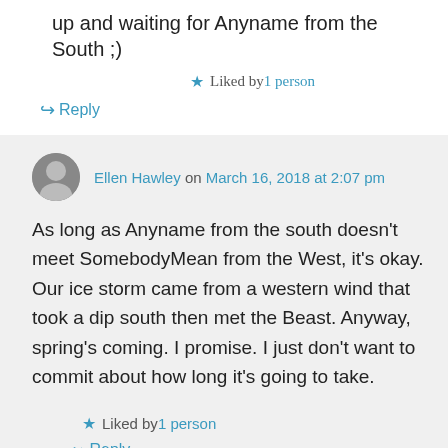up and waiting for Anyname from the South ;)
★ Liked by 1 person
↪ Reply
Ellen Hawley on March 16, 2018 at 2:07 pm
As long as Anyname from the south doesn't meet SomebodyMean from the West, it's okay. Our ice storm came from a western wind that took a dip south then met the Beast. Anyway, spring's coming. I promise. I just don't want to commit about how long it's going to take.
★ Liked by 1 person
↪ Reply